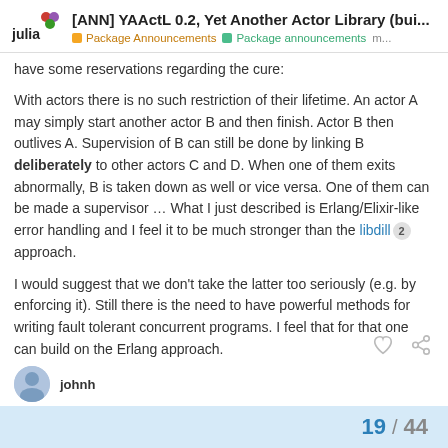[ANN] YAActL 0.2, Yet Another Actor Library (bui... | Package Announcements | Package announcements m...
have some reservations regarding the cure:
With actors there is no such restriction of their lifetime. An actor A may simply start another actor B and then finish. Actor B then outlives A. Supervision of B can still be done by linking B deliberately to other actors C and D. When one of them exits abnormally, B is taken down as well or vice versa. One of them can be made a supervisor … What I just described is Erlang/Elixir-like error handling and I feel it to be much stronger than the libdill 2 approach.
I would suggest that we don't take the latter too seriously (e.g. by enforcing it). Still there is the need to have powerful methods for writing fault tolerant concurrent programs. I feel that for that one can build on the Erlang approach.
19 / 44